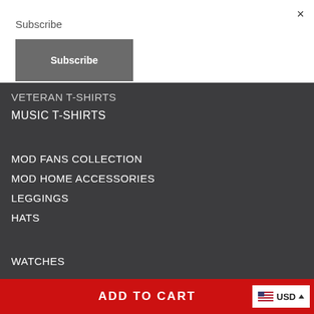Subscribe
Subscribe
VETERAN T-SHIRTS
MUSIC T-SHIRTS
MOD FANS COLLECTION
MOD HOME ACCESSORIES
LEGGINGS
HATS
WATCHES
ADD TO CART
USD